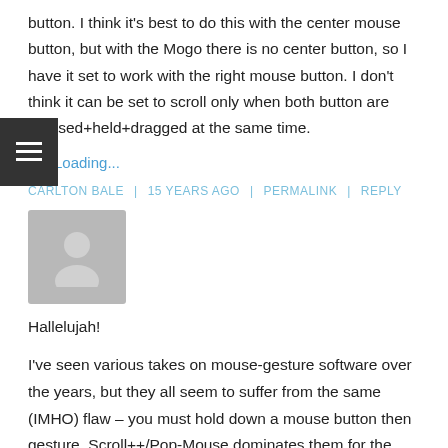button. I think it's best to do this with the center mouse button, but with the Mogo there is no center button, so I have it set to work with the right mouse button. I don't think it can be set to scroll only when both button are pressed+held+dragged at the same time.
Loading...
CARLTON BALE | 15 YEARS AGO | PERMALINK | REPLY
[Figure (illustration): Default user avatar placeholder, grey silhouette of a person on grey background]
Hallelujah!
I've seen various takes on mouse-gesture software over the years, but they all seem to suffer from the same (IMHO) flaw – you must hold down a mouse button then gesture. Scroll++/Pop-Mouse dominates them for the simple reason that you can just make small counter/clockwise circles with the mouse, sans holding buttons, and voila – back/forward in your browser.